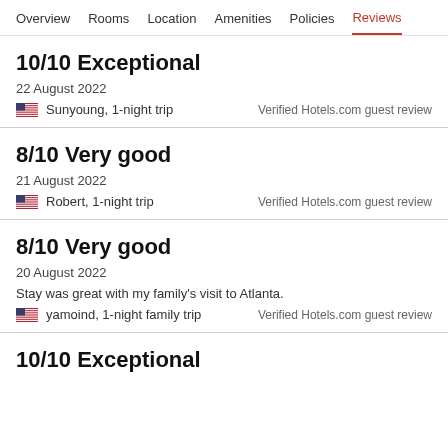Overview  Rooms  Location  Amenities  Policies  Reviews
10/10 Exceptional
22 August 2022
Sunyoung, 1-night trip
Verified Hotels.com guest review
8/10 Very good
21 August 2022
Robert, 1-night trip
Verified Hotels.com guest review
8/10 Very good
20 August 2022
Stay was great with my family's visit to Atlanta.
yamoind, 1-night family trip
Verified Hotels.com guest review
10/10 Exceptional